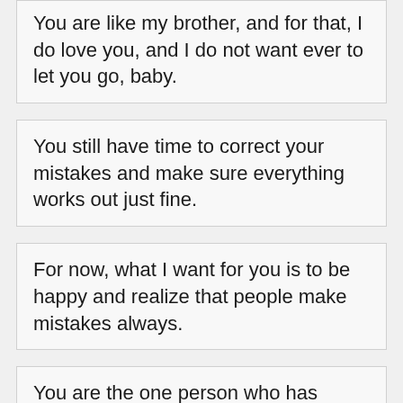You are like my brother, and for that, I do love you, and I do not want ever to let you go, baby.
You still have time to correct your mistakes and make sure everything works out just fine.
For now, what I want for you is to be happy and realize that people make mistakes always.
You are the one person who has taught me how to let go, and so now I have totally let go.
I... (partial, continues below)